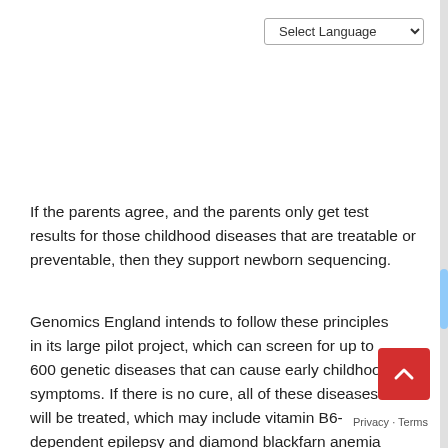[Figure (screenshot): Select Language dropdown widget in top-right corner]
If the parents agree, and the parents only get test results for those childhood diseases that are treatable or preventable, then they support newborn sequencing.
Genomics England intends to follow these principles in its large pilot project, which can screen for up to 600 genetic diseases that can cause early childhood symptoms. If there is no cure, all of these diseases will be treated, which may include vitamin B6-dependent epilepsy and diamond blackfarn anemia (a red blood disease).